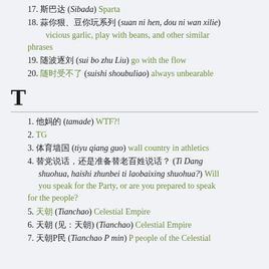17. 斯巴达 (Sibada) Sparta
18. 蒜你狠、豆你玩系列 (suan ni hen, dou ni wan xilie) vicious garlic, play with beans, and other similar phrases
19. 随波逐刘 (sui bo zhu Liu) go with the flow
20. 随时受不了 (suishi shoubuliao) always unbearable
T
1. 他妈的 (tamade) WTF?!
2. TG
3. 体育墙国 (tiyu qiang guo) wall country in athletics
4. 替党说话，还是准备替老百姓说话？(Ti Dang shuohua, haishi zhunbei ti laobaixing shuohua?) Will you speak for the Party, or are you prepared to speak for the people?
5. 天朝 (Tianchao) Celestial Empire
6. 天朝 (见：天朝) (Tianchao) Celestial Empire
7. 天朝P民 (Tianchao P min) P people of the Celestial